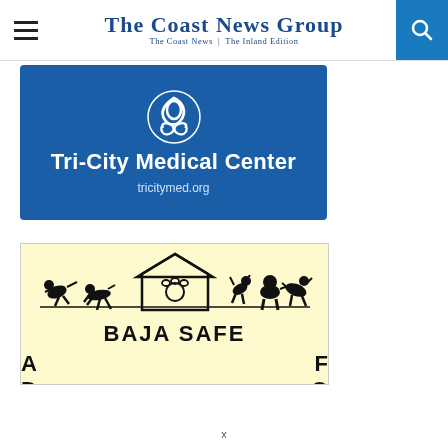The Coast News Group — The Coast News | The Inland Edition
[Figure (logo): Tri-City Medical Center advertisement with blue background, white knot logo, white bold text 'Tri-City Medical Center' and URL 'tricitymed.org']
[Figure (logo): Baja Safe advertisement with light yellow background, silhouettes of dogs and a house with paw print logo, bold text 'BAJA SAFE' and partial text showing 'A', 'D', 'F', 'O']